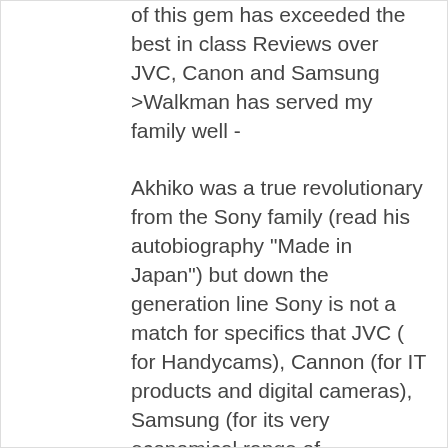of this gem has exceeded the best in class Reviews over JVC, Canon and Samsung >Walkman has served my family well -
Akhiko was a true revolutionary from the Sony family (read his autobiography "Made in Japan") but down the generation line Sony is not a match for specifics that JVC ( for Handycams), Cannon (for IT products and digital cameras), Samsung (for its very economical range of Whitegoods and computer